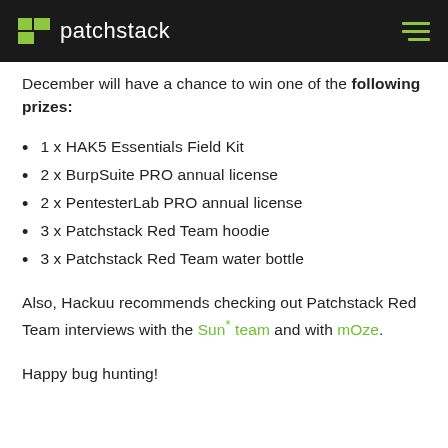patchstack
December will have a chance to win one of the following prizes:
1 x HAK5 Essentials Field Kit
2 x BurpSuite PRO annual license
2 x PentesterLab PRO annual license
3 x Patchstack Red Team hoodie
3 x Patchstack Red Team water bottle
Also, Hackuu recommends checking out Patchstack Red Team interviews with the Sun* team and with mOze.
Happy bug hunting!